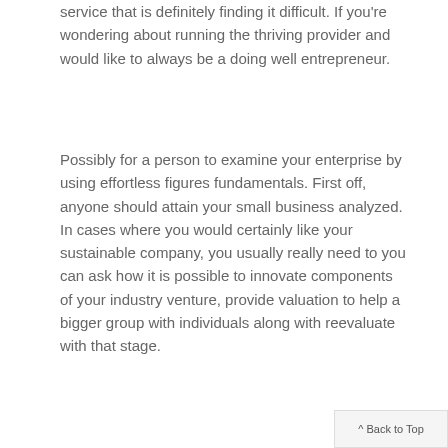service that is definitely finding it difficult. If you're wondering about running the thriving provider and would like to always be a doing well entrepreneur.
Possibly for a person to examine your enterprise by using effortless figures fundamentals. First off, anyone should attain your small business analyzed. In cases where you would certainly like your sustainable company, you usually really need to you can ask how it is possible to innovate components of your industry venture, provide valuation to help a bigger group with individuals along with reevaluate with that stage.